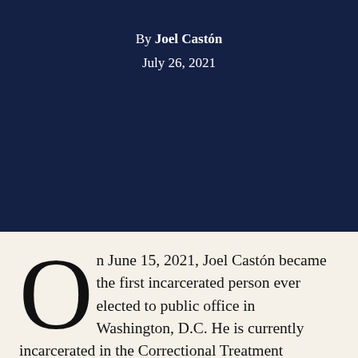By Joel Castón
July 26, 2021
On June 15, 2021, Joel Castón became the first incarcerated person ever elected to public office in Washington, D.C. He is currently incarcerated in the Correctional Treatment